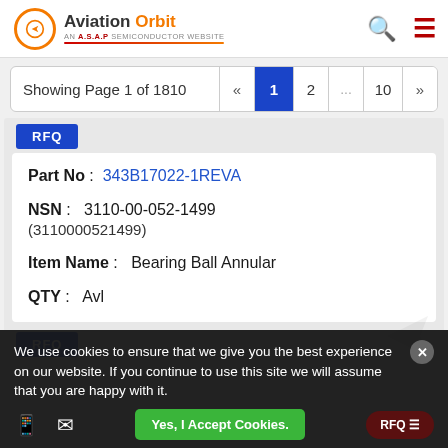Aviation Orbit — AN A.S.A.P SEMICONDUCTOR WEBSITE
Showing Page 1 of 1810  «  1  2  ...  10  »
RFQ
Part No: 343B17022-1REVA
NSN: 3110-00-052-1499 (3110000521499)
Item Name: Bearing Ball Annular
QTY: Avl
RFQ
We use cookies to ensure that we give you the best experience on our website. If you continue to use this site we will assume that you are happy with it.
Yes, I Accept Cookies.